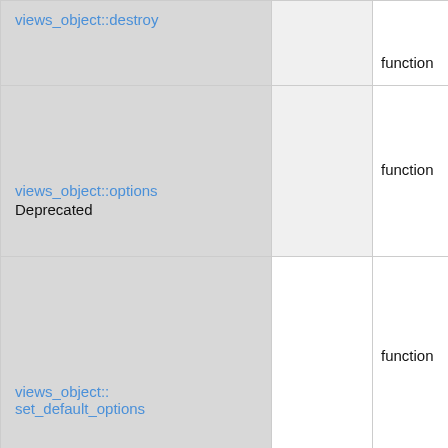| Name |  | Type |
| --- | --- | --- |
| views_object::destroy |  | function |
| views_object::options
Deprecated |  | function |
| views_object::
set_default_options |  | function |
| views_object::reDefiniti... |  | functi... |